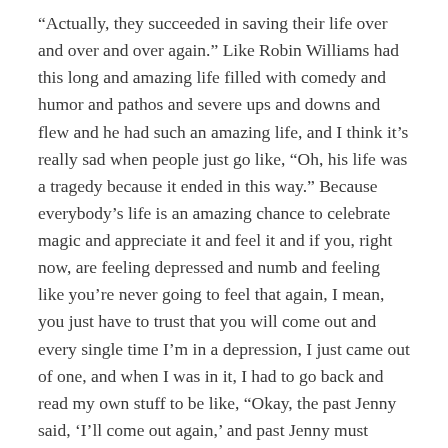“Actually, they succeeded in saving their life over and over and over again.” Like Robin Williams had this long and amazing life filled with comedy and humor and pathos and severe ups and downs and flew and he had such an amazing life, and I think it’s really sad when people just go like, “Oh, his life was a tragedy because it ended in this way.” Because everybody’s life is an amazing chance to celebrate magic and appreciate it and feel it and if you, right now, are feeling depressed and numb and feeling like you’re never going to feel that again, I mean, you just have to trust that you will come out and every single time I’m in a depression, I just came out of one, and when I was in it, I had to go back and read my own stuff to be like, “Okay, the past Jenny said, ‘I’ll come out again,’ and past Jenny must know.”